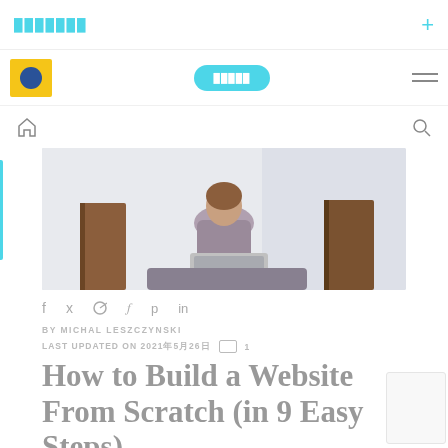███████  +
[Figure (screenshot): Website navigation bar with yellow/blue logo, cyan button with text, and hamburger menu icon]
[Figure (photo): Woman sitting with laptop and books, working at home]
f  y  p  in
BY MICHAL LESZCZYNSKI
LAST UPDATED ON 2021年5月26日   ▭  1
How to Build a Website From Scratch (in 9 Easy Steps)